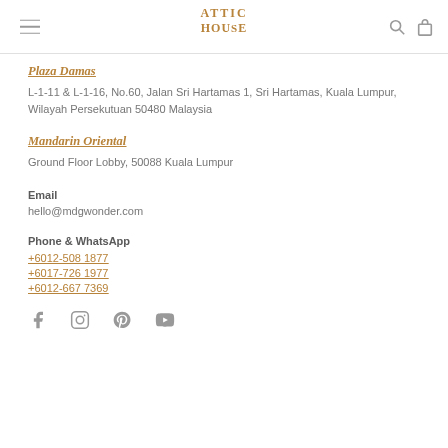Attic House
Plaza Damas
L-1-11 & L-1-16, No.60, Jalan Sri Hartamas 1, Sri Hartamas, Kuala Lumpur, Wilayah Persekutuan 50480 Malaysia
Mandarin Oriental
Ground Floor Lobby, 50088 Kuala Lumpur
Email
hello@mdgwonder.com
Phone & WhatsApp
+6012-508 1877
+6017-726 1977
+6012-667 7369
[Figure (infographic): Social media icons: Facebook, Instagram, Pinterest, YouTube]